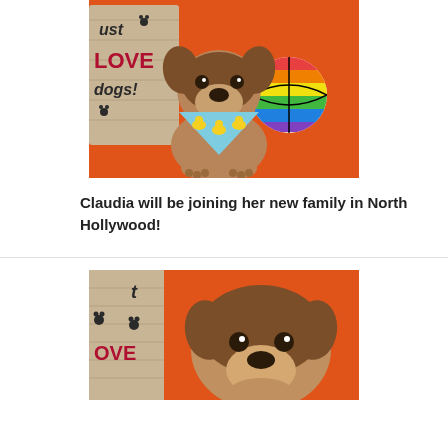[Figure (photo): A puppy wearing a colorful duck-patterned bandana sitting on an orange background with a rainbow ball and a 'Just Love Dogs' wooden sign]
Claudia will be joining her new family in North Hollywood!
[Figure (photo): A puppy close-up on orange background with paw print sign partially visible]